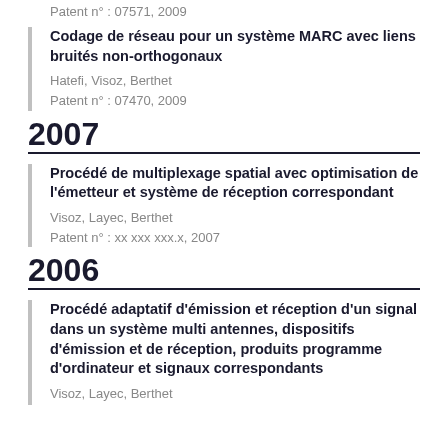Patent n° : 07571, 2009
Codage de réseau pour un système MARC avec liens bruités non-orthogonaux
Hatefi, Visoz, Berthet
Patent n° : 07470, 2009
2007
Procédé de multiplexage spatial avec optimisation de l'émetteur et système de réception correspondant
Visoz, Layec, Berthet
Patent n° : xx xxx xxx.x, 2007
2006
Procédé adaptatif d'émission et réception d'un signal dans un système multi antennes, dispositifs d'émission et de réception, produits programme d'ordinateur et signaux correspondants
Visoz, Layec, Berthet